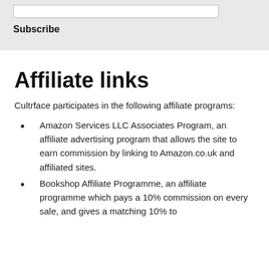Subscribe
Affiliate links
Cultrface participates in the following affiliate programs:
Amazon Services LLC Associates Program, an affiliate advertising program that allows the site to earn commission by linking to Amazon.co.uk and affiliated sites.
Bookshop Affiliate Programme, an affiliate programme which pays a 10% commission on every sale, and gives a matching 10% to